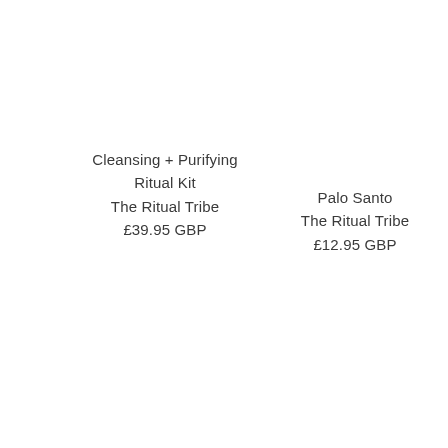Cleansing + Purifying Ritual Kit
The Ritual Tribe
£39.95 GBP
Palo Santo
The Ritual Tribe
£12.95 GBP